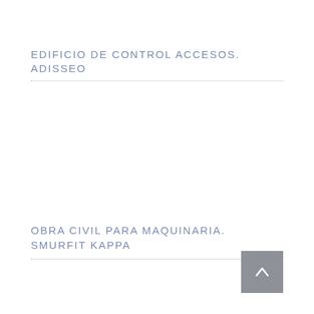EDIFICIO DE CONTROL ACCESOS. ADISSEO
OBRA CIVIL PARA MAQUINARIA. SMURFIT KAPPA